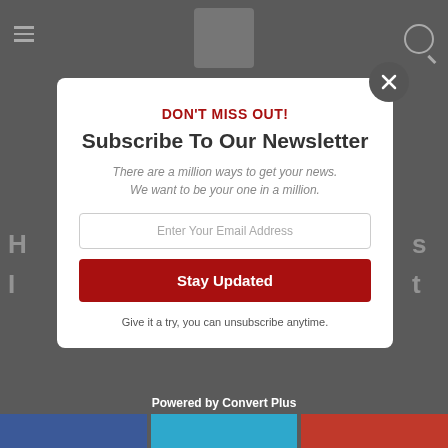[Figure (screenshot): Website background showing a dark overlay with a newsletter subscription modal popup. The modal contains a DON'T MISS OUT! headline in red, Subscribe To Our Newsletter heading in dark gray, italic subtext, email input field, Stay Updated button in red, and unsubscribe note.]
DON'T MISS OUT!
Subscribe To Our Newsletter
There are a million ways to get your news. We want to be your one in a million.
Enter Your Email Address
Stay Updated
Give it a try, you can unsubscribe anytime.
Powered by Convert Plus